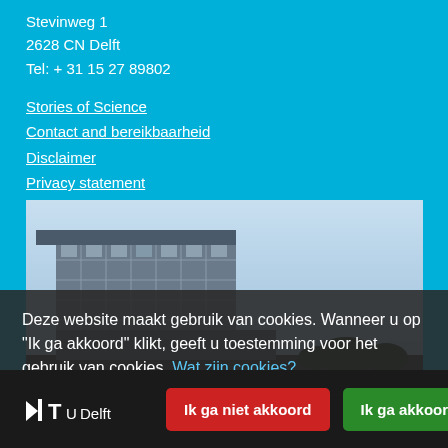Stevinweg 1
2628 CN Delft
Tel: + 31 15 27 89802
Stories of Science
Contact and bereikbaarheid
Disclaimer
Privacy statement
[Figure (photo): Photograph of a modern university building (TU Delft) with glass facade against a light blue sky]
Deze website maakt gebruik van cookies. Wanneer u op "Ik ga akkoord" klikt, geeft u toestemming voor het gebruik van cookies. Wat zijn cookies?
Ik ga niet akkoord
Ik ga akkoord